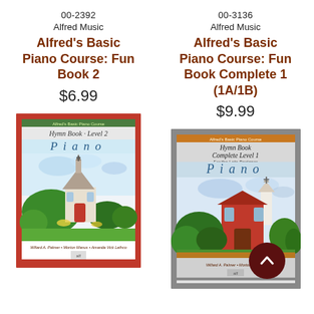00-2392
Alfred Music
Alfred's Basic Piano Course: Fun Book 2
$6.99
[Figure (photo): Book cover of Alfred's Basic Piano Course: Fun Book 2 (Hymn Book Level 2). Red border with green accent strip at top, watercolor illustration of a white church with red door surrounded by trees and colorful sky. Title reads 'Hymn Book Level 2' and 'Piano'. Authors: Willard A. Palmer, Morton Manus, Amanda Vick Lethco.]
00-3136
Alfred Music
Alfred's Basic Piano Course: Fun Book Complete 1 (1A/1B)
$9.99
[Figure (photo): Book cover of Alfred's Basic Piano Course: Fun Book Complete 1 (Hymn Book Complete Level 1). Gray border with orange accent strip at top, watercolor illustration of a red church with steeple surrounded by trees and colorful sky. Title reads 'Hymn Book Complete Level 1 For the Late Beginner' and 'Piano'. Authors: Willard A. Palmer, Morton Manus, and others.]